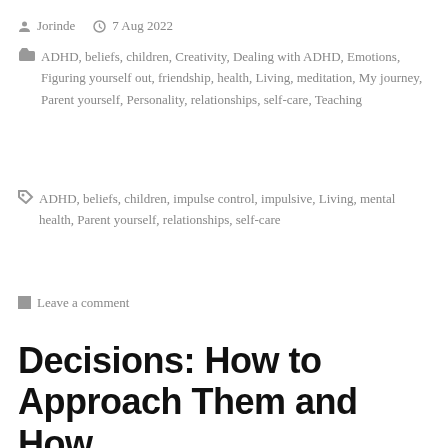Jorinde   7 Aug 2022
ADHD, beliefs, children, Creativity, Dealing with ADHD, Emotions, Figuring yourself out, friendship, health, Living, meditation, My journey, Parent yourself, Personality, relationships, self-care, Teaching
ADHD, beliefs, children, impulse control, impulsive, Living, mental health, Parent yourself, relationships, self-care
Leave a comment
Decisions: How to Approach Them and How